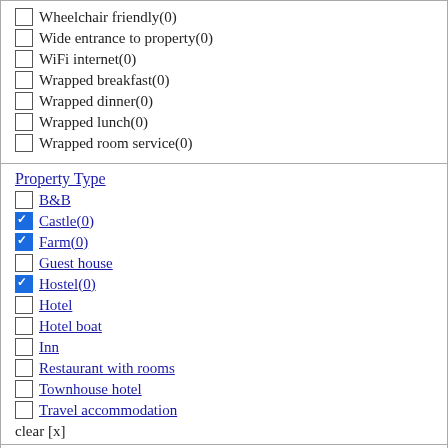Wheelchair friendly(0)
Wide entrance to property(0)
WiFi internet(0)
Wrapped breakfast(0)
Wrapped dinner(0)
Wrapped lunch(0)
Wrapped room service(0)
Property Type
B&B
Castle(0)
Farm(0)
Guest house
Hostel(0)
Hotel
Hotel boat
Inn
Restaurant with rooms
Townhouse hotel
Travel accommodation
clear [x]
Type of Stay